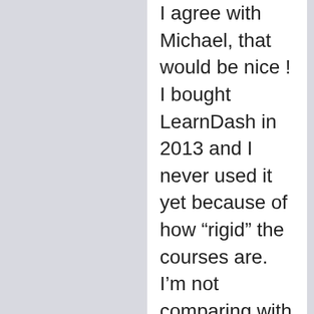I agree with Michael, that would be nice ! I bought LearnDash in 2013 and I never used it yet because of how “rigid” the courses are. I’m not comparing with other plugins, I’m just saying that LMSs are following the (bad) trend of MOOCs with a single path you have to follow in order to achieve things. That’s not how learning works. I was therefore really happy to receive this update but I see that there is still some work needed before I can use it. I really do appreciate the effort you put in the plugin though and I really think it’s the best choice for WP users. It’s just that sometimes I wish you were disrupting and